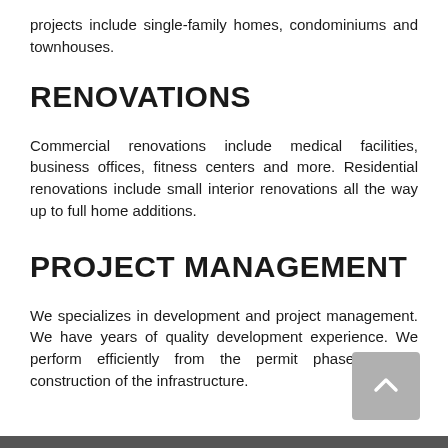projects include single-family homes, condominiums and townhouses.
RENOVATIONS
Commercial renovations include medical facilities, business offices, fitness centers and more. Residential renovations include small interior renovations all the way up to full home additions.
PROJECT MANAGEMENT
We specializes in development and project management. We have years of quality development experience. We perform efficiently from the permit phase to the construction of the infrastructure.